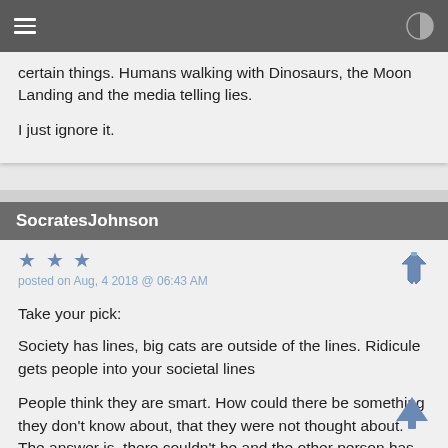Navigation bar with hamburger menu and brightness icon
certain things. Humans walking with Dinosaurs, the Moon Landing and the media telling lies.

I just ignore it.
SocratesJohnson
★ ★ ★
posted on Aug, 4 2018 @ 06:43 AM
Take your pick:

Society has lines, big cats are outside of the lines. Ridicule gets people into your societal lines

People think they are smart. How could there be something they don't know about, that they were not thought about. The answer is, there couldn't be and the other person has to be wrong